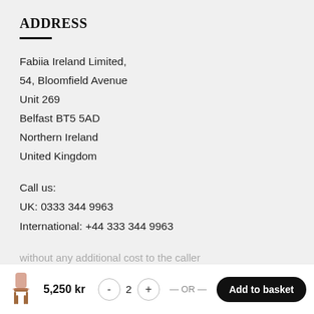ADDRESS
Fabiia Ireland Limited,
54, Bloomfield Avenue
Unit 269
Belfast BT5 5AD
Northern Ireland
United Kingdom
Call us:
UK: 0333 344 9963
International: +44 333 344 9963
Sweden: +46812112926
Note: Calls will be forwarded to the United Kingdom
without any additional cost to the caller
5,250 kr   -  2  +  — OR —  Add to basket